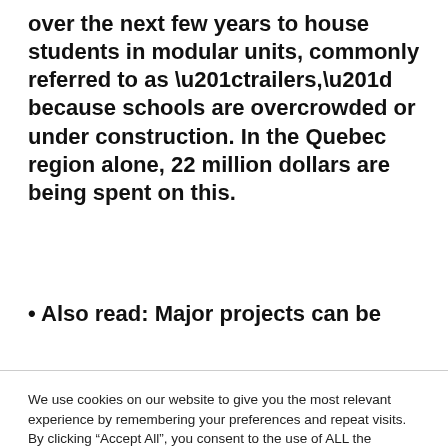over the next few years to house students in modular units, commonly referred to as “trailers,” because schools are overcrowded or under construction. In the Quebec region alone, 22 million dollars are being spent on this.
• Also read: Major projects can be
We use cookies on our website to give you the most relevant experience by remembering your preferences and repeat visits. By clicking “Accept All”, you consent to the use of ALL the cookies. However, you may visit "Cookie Settings" to provide a controlled consent.